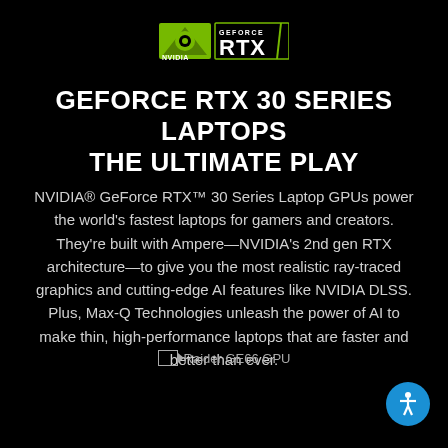[Figure (logo): NVIDIA GeForce RTX logo with green NVIDIA icon and RTX text in white box with green border]
GEFORCE RTX 30 SERIES LAPTOPS THE ULTIMATE PLAY
NVIDIA® GeForce RTX™ 30 Series Laptop GPUs power the world's fastest laptops for gamers and creators. They're built with Ampere—NVIDIA's 2nd gen RTX architecture—to give you the most realistic ray-traced graphics and cutting-edge AI features like NVIDIA DLSS. Plus, Max-Q Technologies unleash the power of AI to make thin, high-performance laptops that are faster and better than ever.
Raider GE66 GPU